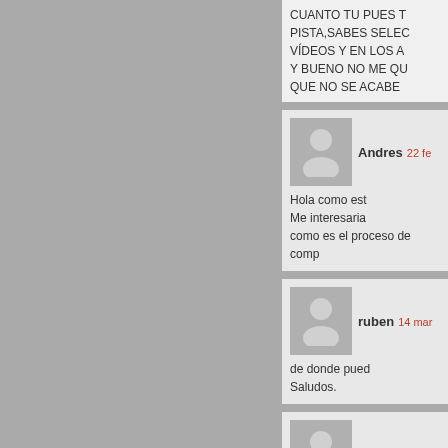CUANTO TU PUES T
PISTA,SABES SELEC
VÍDEOS Y EN LOS A
Y BUENO NO ME QU
QUE NO SE ACABE
Andres  22 fe
Hola como est
Me interesaria
como es el proceso de comp
ruben  14 mar
de donde pued
Saludos.
Ailén  19 abril
esta muy buen